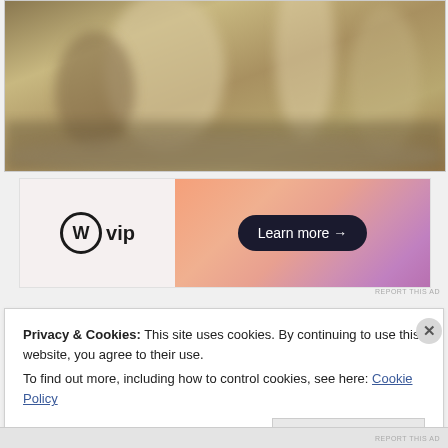[Figure (photo): Blurry sepia-toned photograph showing indistinct figures or objects in a dark, atmospheric setting]
[Figure (other): WordPress VIP advertisement banner with logo on white/light left side and orange-pink gradient right side with 'Learn more →' button]
REPORT THIS AD
Privacy & Cookies: This site uses cookies. By continuing to use this website, you agree to their use.
To find out more, including how to control cookies, see here: Cookie Policy
Close and accept
REPORT THIS AD